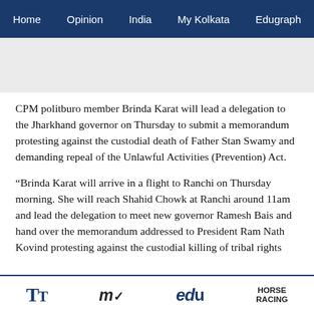Home  Opinion  India  My Kolkata  Edugraph
CPM politburo member Brinda Karat will lead a delegation to the Jharkhand governor on Thursday to submit a memorandum protesting against the custodial death of Father Stan Swamy and demanding repeal of the Unlawful Activities (Prevention) Act.
“Brinda Karat will arrive in a flight to Ranchi on Thursday morning. She will reach Shahid Chowk at Ranchi around 11am and lead the delegation to meet new governor Ramesh Bais and hand over the memorandum addressed to President Ram Nath Kovind protesting against the custodial killing of tribal rights
TT  my  edu  HORSE RACING